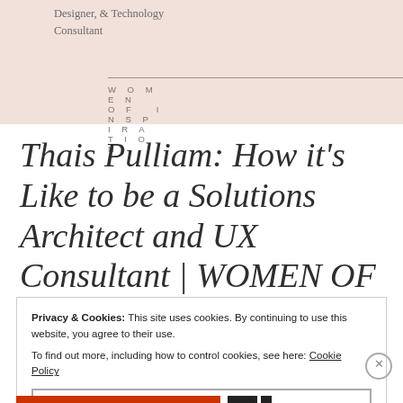Designer, & Technology Consultant
WOMEN OF INSPIRATION
Thais Pulliam: How it's Like to be a Solutions Architect and UX Consultant | WOMEN OF INSPIRATION
Privacy & Cookies: This site uses cookies. By continuing to use this website, you agree to their use.
To find out more, including how to control cookies, see here: Cookie Policy
Close and accept